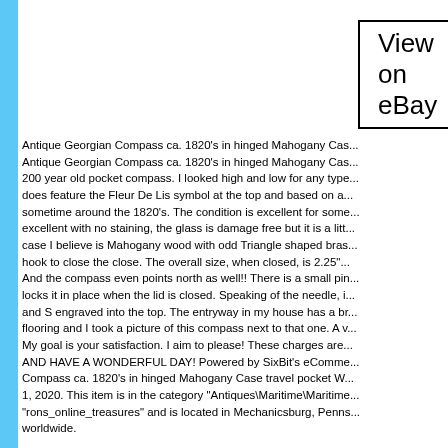[Figure (screenshot): View on eBay button with black border]
Antique Georgian Compass ca. 1820's in hinged Mahogany Cas... Antique Georgian Compass ca. 1820's in hinged Mahogany Cas... 200 year old pocket compass. I looked high and low for any type... does feature the Fleur De Lis symbol at the top and based on a... sometime around the 1820's. The condition is excellent for some... excellent with no staining, the glass is damage free but it is a litt... case I believe is Mahogany wood with odd Triangle shaped bras... hook to close the close. The overall size, when closed, is 2.25"... And the compass even points north as well!! There is a small pin... locks it in place when the lid is closed. Speaking of the needle, i... and S engraved into the top. The entryway in my house has a br... flooring and I took a picture of this compass next to that one. A v... My goal is your satisfaction. I aim to please! These charges are... AND HAVE A WONDERFUL DAY! Powered by SixBit's eComme... Compass ca. 1820's in hinged Mahogany Case travel pocket W... 1, 2020. This item is in the category "Antiques\Maritime\Maritime... "rons_online_treasures" and is located in Mechanicsburg, Penns... worldwide.
Primary Material: Brass
Maker: Unknown
Original/Reproduction: Antique Original
California Prop 65 Warning: No
Features: Compass